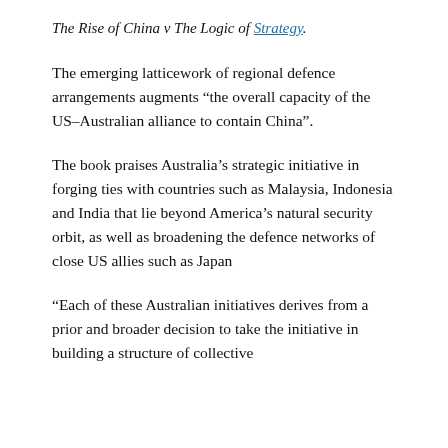The Rise of China v The Logic of Strategy.
The emerging latticework of regional defence arrangements augments “the overall capacity of the US–Australian alliance to contain China”.
The book praises Australia’s strategic initiative in forging ties with countries such as Malaysia, Indonesia and India that lie beyond America’s natural security orbit, as well as broadening the defence networks of close US allies such as Japan
“Each of these Australian initiatives derives from a prior and broader decision to take the initiative in building a structure of collective